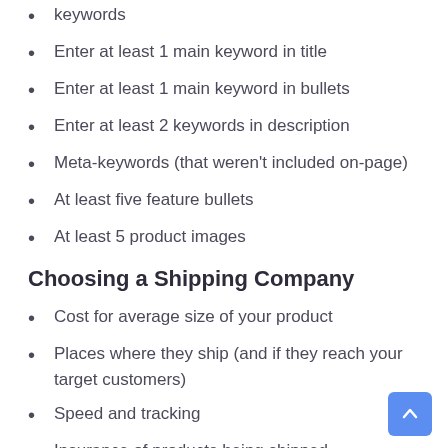keywords
Enter at least 1 main keyword in title
Enter at least 1 main keyword in bullets
Enter at least 2 keywords in description
Meta-keywords (that weren't included on-page)
At least five feature bullets
At least 5 product images
Choosing a Shipping Company
Cost for average size of your product
Places where they ship (and if they reach your target customers)
Speed and tracking
Insurance of products being shipped
Reputation with other sellers